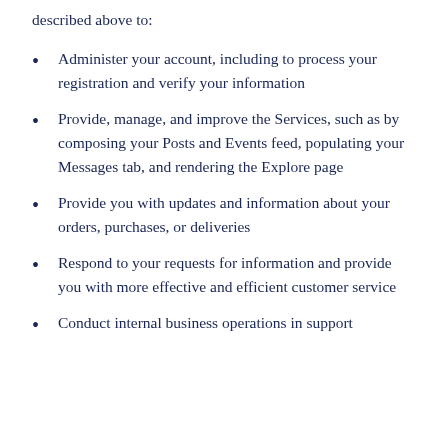described above to:
Administer your account, including to process your registration and verify your information
Provide, manage, and improve the Services, such as by composing your Posts and Events feed, populating your Messages tab, and rendering the Explore page
Provide you with updates and information about your orders, purchases, or deliveries
Respond to your requests for information and provide you with more effective and efficient customer service
Conduct internal business operations in support